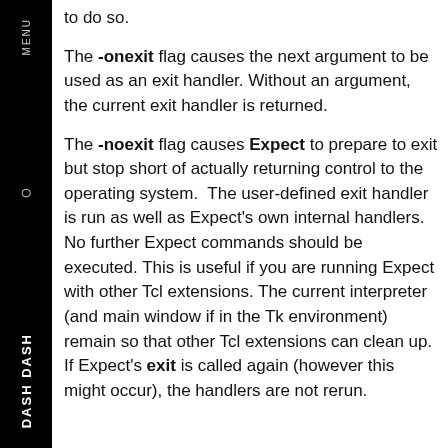to do so.
The -onexit flag causes the next argument to be used as an exit handler. Without an argument, the current exit handler is returned.
The -noexit flag causes Expect to prepare to exit but stop short of actually returning control to the operating system.  The user-defined exit handler is run as well as Expect's own internal handlers. No further Expect commands should be executed. This is useful if you are running Expect with other Tcl extensions. The current interpreter (and main window if in the Tk environment) remain so that other Tcl extensions can clean up.  If Expect's exit is called again (however this might occur), the handlers are not rerun.